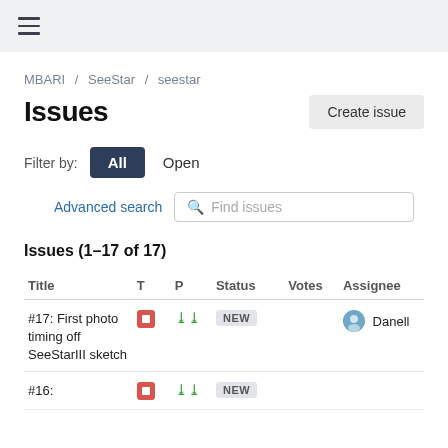≡ (hamburger menu)
MBARI / SeeStar / seestar
Issues
Create issue
Filter by: All Open
Advanced search  Find issues
Issues (1–17 of 17)
| Title | T | P | Status | Votes | Assignee |
| --- | --- | --- | --- | --- | --- |
| #17: First photo timing off SeeStarIII sketch | bug | low | NEW |  | Danell |
| #16: | bug | low | NEW |  |  |